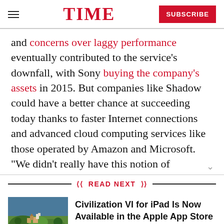TIME   SUBSCRIBE
and concerns over laggy performance eventually contributed to the service's downfall, with Sony buying the company's assets in 2015. But companies like Shadow could have a better chance at succeeding today thanks to faster Internet connections and advanced cloud computing services like those operated by Amazon and Microsoft. “We didn’t really have this notion of
READ NEXT
[Figure (photo): Screenshot of Civilization VI game showing aerial view of a settlement with green landscape]
Civilization VI for iPad Is Now Available in the Apple App Store